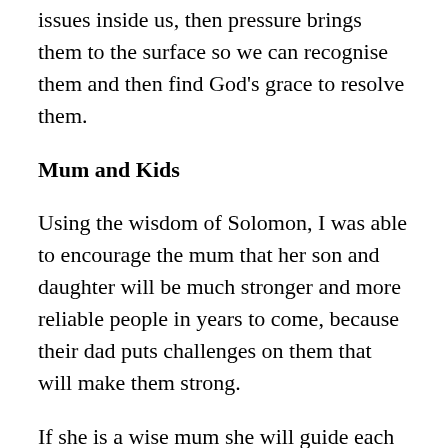issues inside us, then pressure brings them to the surface so we can recognise them and then find God's grace to resolve them.
Mum and Kids
Using the wisdom of Solomon, I was able to encourage the mum that her son and daughter will be much stronger and more reliable people in years to come, because their dad puts challenges on them that will make them strong.
If she is a wise mum she will guide each child to deal with the “issues” that come up in their heart, so they work through things in readiness for the bigger challenges of the years ahead.
Oh, and note that many adults today have missed